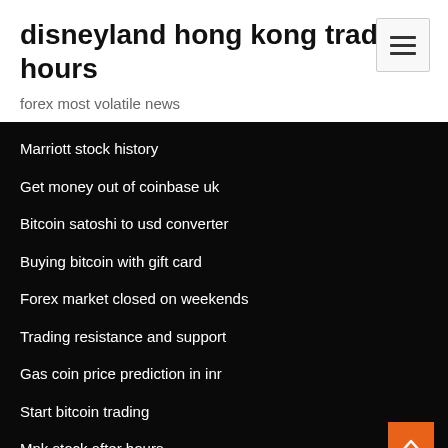disneyland hong kong trading hours
forex most volatile news
Marriott stock history
Get money out of coinbase uk
Bitcoin satoshi to usd converter
Buying bitcoin with gift card
Forex market closed on weekends
Trading resistance and support
Gas coin price prediction in inr
Start bitcoin trading
Mnk stock after hours